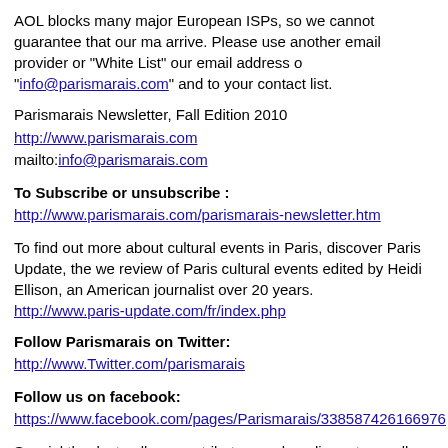AOL blocks many major European ISPs, so we cannot guarantee that our ma arrive. Please use another email provider or "White List" our email address o "info@parismarais.com" and to your contact list.
Parismarais Newsletter, Fall Edition 2010
http://www.parismarais.com
mailto:info@parismarais.com
To Subscribe or unsubscribe :
http://www.parismarais.com/parismarais-newsletter.htm
To find out more about cultural events in Paris, discover Paris Update, the we review of Paris cultural events edited by Heidi Ellison, an American journalist over 20 years.
http://www.paris-update.com/fr/index.php
Follow Parismarais on Twitter:
http://www.Twitter.com/parismarais
Follow us on facebook:
https://www.facebook.com/pages/Parismarais/338587426166976
Special thanks to all our contributors and media partners all over the world.
http://www.parismarais.com/worldwide-links.htm
Should you wish to promote us and create profitable reciprocal links with us t to advertising@parismarais.com
PARISMARAIS.Com is a Media Partner of Paris Tourism Office, France C